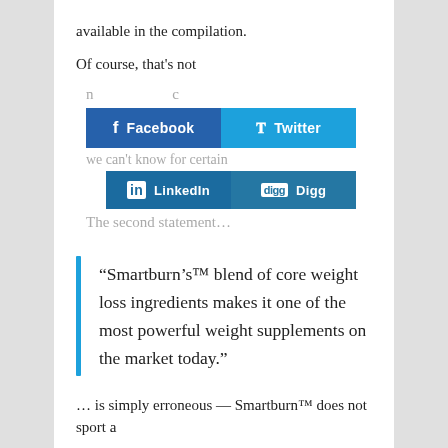available in the compilation.
Of course, that's not
[Figure (infographic): Social sharing buttons overlay: Facebook (dark blue), Twitter (light blue), LinkedIn (dark blue), Digg (medium blue)]
we can't know for certain
The second statement...
“Smartburn’s™ blend of core weight loss ingredients makes it one of the most powerful weight supplements on the market today.”
… is simply erroneous — Smartburn™ does not sport a